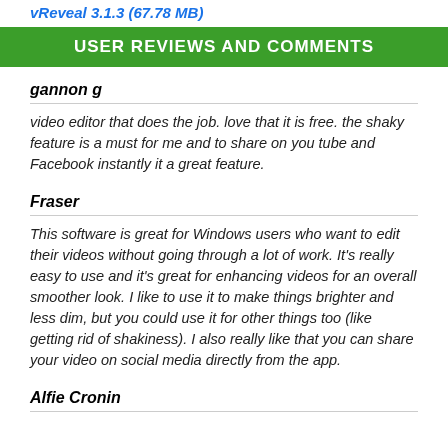vReveal 3.1.3 (67.78 MB)
USER REVIEWS AND COMMENTS
gannon g
video editor that does the job. love that it is free. the shaky feature is a must for me and to share on you tube and Facebook instantly it a great feature.
Fraser
This software is great for Windows users who want to edit their videos without going through a lot of work. It's really easy to use and it's great for enhancing videos for an overall smoother look. I like to use it to make things brighter and less dim, but you could use it for other things too (like getting rid of shakiness). I also really like that you can share your video on social media directly from the app.
Alfie Cronin